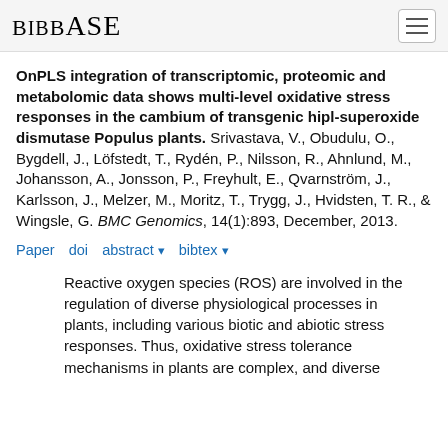BibBase
OnPLS integration of transcriptomic, proteomic and metabolomic data shows multi-level oxidative stress responses in the cambium of transgenic hipl-superoxide dismutase Populus plants. Srivastava, V., Obudulu, O., Bygdell, J., Löfstedt, T., Rydén, P., Nilsson, R., Ahnlund, M., Johansson, A., Jonsson, P., Freyhult, E., Qvarnström, J., Karlsson, J., Melzer, M., Moritz, T., Trygg, J., Hvidsten, T. R., & Wingsle, G. BMC Genomics, 14(1):893, December, 2013.
Paper doi abstract bibtex
Reactive oxygen species (ROS) are involved in the regulation of diverse physiological processes in plants, including various biotic and abiotic stress responses. Thus, oxidative stress tolerance mechanisms in plants are complex, and diverse